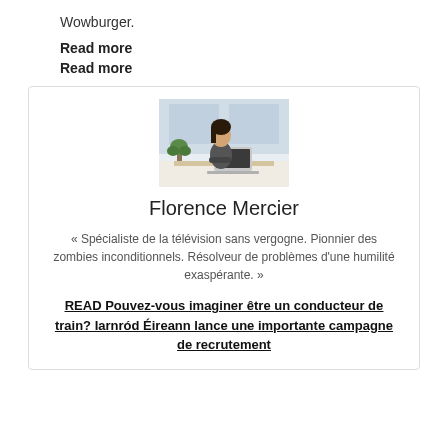Wowburger.
Read more
Read more
[Figure (photo): Woman sitting at a desk working on a laptop in a bright office setting with a plant nearby]
Florence Mercier
« Spécialiste de la télévision sans vergogne. Pionnier des zombies inconditionnels. Résolveur de problèmes d'une humilité exaspérante. »
READ Pouvez-vous imaginer être un conducteur de train? Iarnród Éireann lance une importante campagne de recrutement